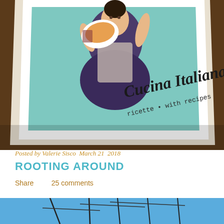[Figure (photo): Photo of a cookbook titled 'Cucina Italiana' with subtitle text '...ricette • with recipes', showing an illustrated woman in vintage dress holding a plate of pasta, placed on a wooden surface. The book cover has a teal/mint background.]
Posted by Valerie Sisco  March 21  2018
ROOTING AROUND
Share    25 comments
[Figure (photo): Partial photo showing blue sky and what appears to be boat masts or rigging from below.]